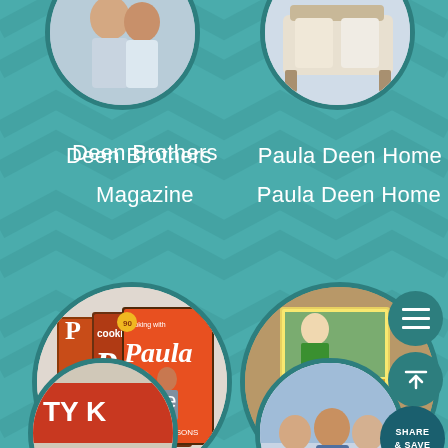[Figure (screenshot): Mobile app UI screenshot showing a teal/turquoise background with a chevron pattern, featuring a 2-column grid of circular image tiles with labels. Visible sections: Deen Brothers, Paula Deen Home, Magazine, Cookbooks, and two partially visible bottom circles. Floating action buttons (menu, scroll up, Share & Save) on the right side.]
Deen Brothers
Paula Deen Home
Magazine
Cookbooks